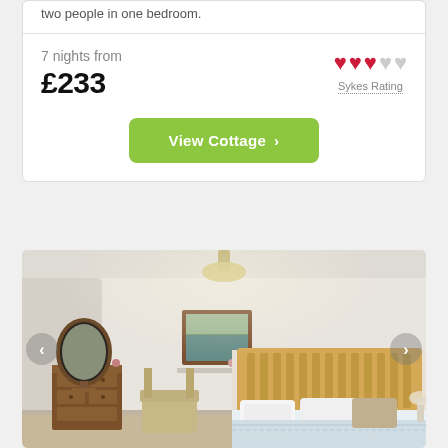two people in one bedroom.
7 nights from £233
Sykes Rating
View Cottage
[Figure (photo): Interior bedroom photo showing a bed with wooden headboard, oval mirror on dresser, framed picture on wall, and a pendant ceiling light. Navigation arrows visible on sides.]